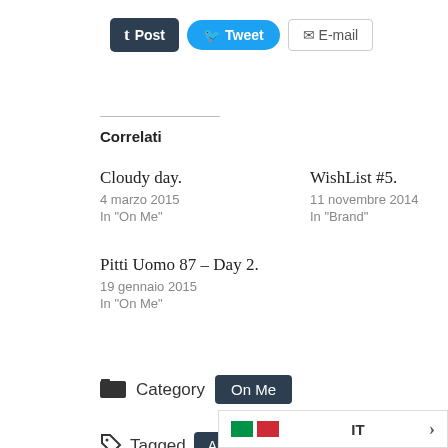[Figure (other): Social share buttons: Tumblr Post, Tweet, E-mail]
Correlati
Cloudy day.
4 marzo 2015
In "On Me"
WishList #5.
11 novembre 2014
In "Brand"
Pitti Uomo 87 – Day 2.
19 gennaio 2015
In "On Me"
Category  On Me
Tagged  Anello  BACKPACK  blog  Calzini  DeLamp  Fashion  FeF
[Figure (other): Language selector bar showing Italian flag and IT label with arrow]